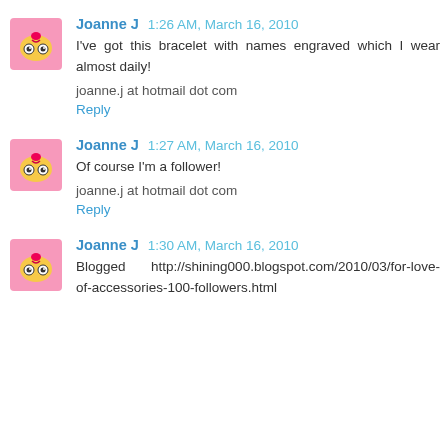Joanne J 1:26 AM, March 16, 2010
I've got this bracelet with names engraved which I wear almost daily!

joanne.j at hotmail dot com
Reply
Joanne J 1:27 AM, March 16, 2010
Of course I'm a follower!

joanne.j at hotmail dot com
Reply
Joanne J 1:30 AM, March 16, 2010
Blogged    http://shining000.blogspot.com/2010/03/for-love-of-accessories-100-followers.html